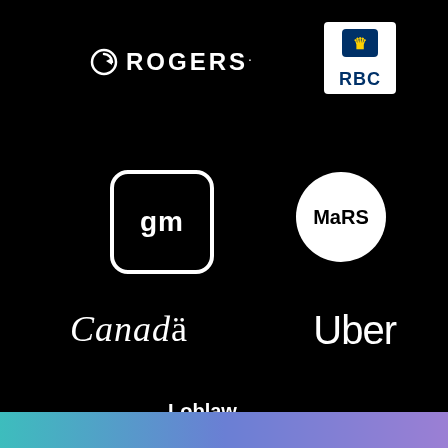[Figure (logo): Rogers logo — circle-arrow icon followed by ROGERS. wordmark in white on black background]
[Figure (logo): RBC (Royal Bank of Canada) logo — lion shield emblem above RBC text in white box]
[Figure (logo): GM (General Motors) logo — 'gm' in white rounded-corner square outline on black]
[Figure (logo): MaRS logo — MaRS text in black on white circle]
[Figure (logo): Canada wordmark in white serif italic text on black]
[Figure (logo): Uber wordmark in white sans-serif text on black]
[Figure (logo): Loblaw Companies Limited wordmark in white bold text on black]
[Figure (other): Gradient bar at bottom: teal to purple/blue gradient strip]